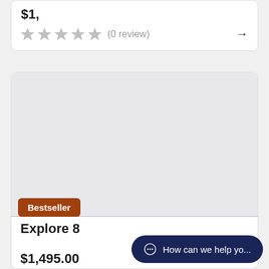$1,xxx.xx
★★★★★ (0 review) →
[Figure (photo): Product image placeholder area, light gray background]
Bestseller
Explore 8
$1,495.00
How can we help yo...